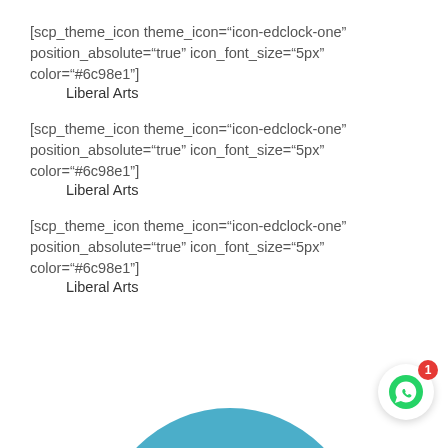[scp_theme_icon theme_icon="icon-edclock-one" position_absolute="true" icon_font_size="5px" color="#6c98e1"]
    Liberal Arts
[scp_theme_icon theme_icon="icon-edclock-one" position_absolute="true" icon_font_size="5px" color="#6c98e1"]
    Liberal Arts
[scp_theme_icon theme_icon="icon-edclock-one" position_absolute="true" icon_font_size="5px" color="#6c98e1"]
    Liberal Arts
[Figure (pie-chart): Partial pie chart visible at the bottom of the page, showing at least two segments: a teal/blue segment on the left and a light orange/tan segment on the right. The chart is cropped.]